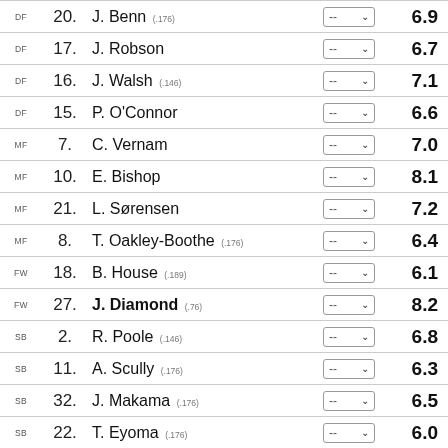| Pos | No. | Name | Rating Input | Score |
| --- | --- | --- | --- | --- |
| DF | 20. | J. Benn (.176) | -- | 6.9 |
| DF | 17. | J. Robson | -- | 6.7 |
| DF | 16. | J. Walsh (.146) | -- | 7.1 |
| DF | 15. | P. O'Connor | -- | 6.6 |
| MF | 7. | C. Vernam | -- | 7.0 |
| MF | 10. | E. Bishop | -- | 8.1 |
| MF | 21. | L. Sørensen | -- | 7.2 |
| MF | 8. | T. Oakley-Boothe (.176) | -- | 6.4 |
| FW | 18. | B. House (.189) | -- | 6.1 |
| FW | 27. | J. Diamond (.76) | -- | 8.2 |
| SB | 2. | R. Poole (.146) | -- | 6.8 |
| SB | 11. | A. Scully (.176) | -- | 6.3 |
| SB | 32. | J. Makama (.176) | -- | 6.5 |
| SB | 22. | T. Eyoma (.176) | -- | 6.0 |